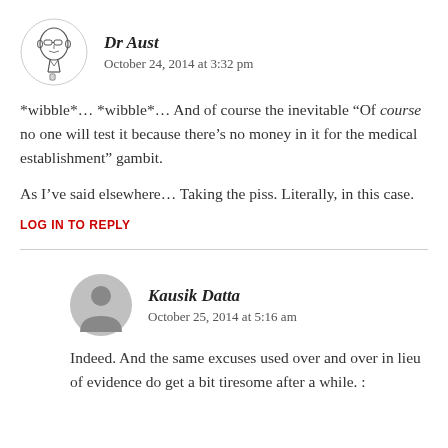[Figure (illustration): Hand-drawn sketch avatar of a person with glasses]
Dr Aust
October 24, 2014 at 3:32 pm
*wibble*… *wibble*… And of course the inevitable “Of course no one will test it because there’s no money in it for the medical establishment” gambit.
As I’ve said elsewhere… Taking the piss. Literally, in this case.
LOG IN TO REPLY
[Figure (illustration): Generic grey avatar silhouette circle]
Kausik Datta
October 25, 2014 at 5:16 am
Indeed. And the same excuses used over and over in lieu of evidence do get a bit tiresome after a while. :